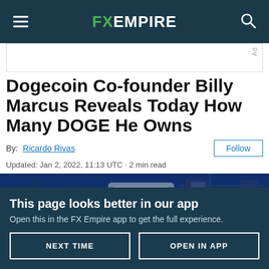FX EMPIRE
Dogecoin Co-founder Billy Marcus Reveals Today How Many DOGE He Owns
By: Ricardo Rivas
Updated: Jan 2, 2022, 11:13 UTC · 2 min read
[Figure (photo): Close-up photo of a circuit board with electronic components, in blue tones, with a gold coin partially visible]
This page looks better in our app
Open this in the FX Empire app to get the full experience.
NEXT TIME    OPEN IN APP